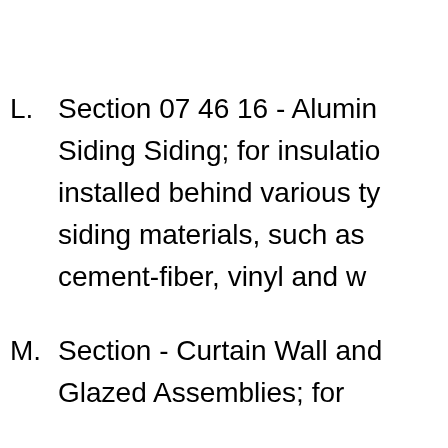L.  Section 07 46 16 - Aluminum Siding Siding; for insulation installed behind various types siding materials, such as cement-fiber, vinyl and w...
M. Section - Curtain Wall and Glazed Assemblies; for